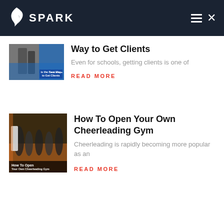SPARK
[Figure (screenshot): Thumbnail image for article about getting clients, with blue graphic and overlay text 'is the Best Way to Get Clients']
Way to Get Clients
Even for schools, getting clients is one of
READ MORE
[Figure (photo): Thumbnail image for article 'How To Open Your Own Cheerleading Gym' showing cheerleaders in a gym]
How To Open Your Own Cheerleading Gym
Cheerleading is rapidly becoming more popular as an
READ MORE